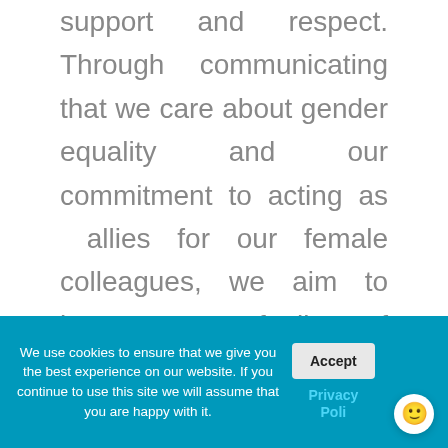support and respect. Through communicating that we care about gender equality and our commitment to acting as allies for our female colleagues, we aim to boost women's feelings of inclusion in male-dominated spaces.

At disguise, our mission is to create an inclusive and welcoming environment for both our end customers, but also the people that make up our growing and diverse workforce.
We use cookies to ensure that we give you the best experience on our website. If you continue to use this site we will assume that you are happy with it.